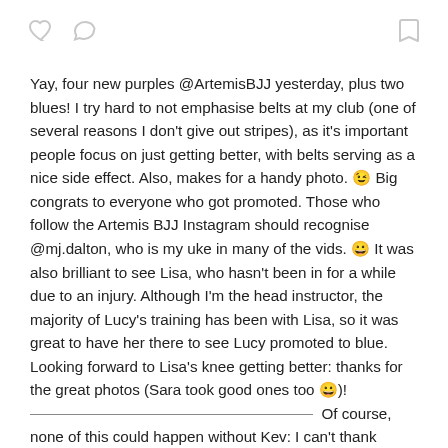[Figure (other): Top bar with heart icon, comment bubble icon on left, and bookmark icon on right (social media UI icons in gray)]
Yay, four new purples @ArtemisBJJ yesterday, plus two blues! I try hard to not emphasise belts at my club (one of several reasons I don't give out stripes), as it's important people focus on just getting better, with belts serving as a nice side effect. Also, makes for a handy photo. 😉 Big congrats to everyone who got promoted. Those who follow the Artemis BJJ Instagram should recognise @mj.dalton, who is my uke in many of the vids. 😀 It was also brilliant to see Lisa, who hasn't been in for a while due to an injury. Although I'm the head instructor, the majority of Lucy's training has been with Lisa, so it was great to have her there to see Lucy promoted to blue. Looking forward to Lisa's knee getting better: thanks for the great photos (Sara took good ones too 😀)! _____________________________________ Of course, none of this could happen without Kev: I can't thank @rgabucks enough for how he supports the club. 😎👍